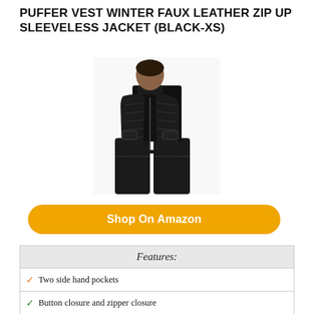PUFFER VEST WINTER FAUX LEATHER ZIP UP SLEEVELESS JACKET (BLACK-XS)
[Figure (photo): A model wearing a black faux leather puffer vest (sleeveless, cropped), paired with black wide-leg pants and a black turtleneck. The vest has a stand collar and visible side pockets.]
Shop On Amazon
Features:
Two side hand pockets
Button closure and zipper closure
Regular fit, solid color, stand collar, hem with drawstrings
Mid-weight and warm vegan leather padded cropped vest